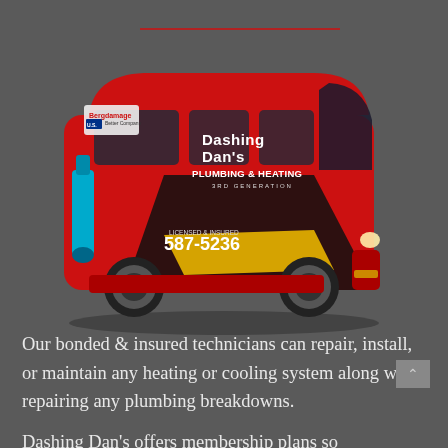[Figure (photo): A red cargo van with 'Dashing Dan's Plumbing & Heating 3rd Generation' branding, showing phone number 587-5236, licensed & insured, with plumbing equipment graphics on the side panel]
Our bonded & insured technicians can repair, install, or maintain any heating or cooling system along with repairing any plumbing breakdowns.
Dashing Dan's offers membership plans so